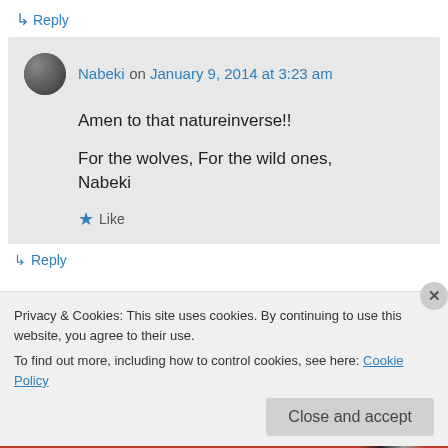↳ Reply
Nabeki on January 9, 2014 at 3:23 am
Amen to that natureinverse!!
For the wolves, For the wild ones,
Nabeki
★ Like
↳ Reply
Privacy & Cookies: This site uses cookies. By continuing to use this website, you agree to their use.
To find out more, including how to control cookies, see here: Cookie Policy
Close and accept